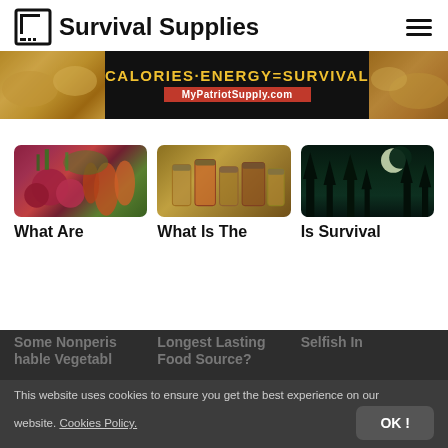Survival Supplies
[Figure (infographic): Banner ad: CALORIES-ENERGY=SURVIVAL MyPatriotSupply.com with food images on sides]
[Figure (photo): Photo of colorful vegetables including beets and carrots]
[Figure (photo): Photo of glass jars filled with various dried foods and spices]
[Figure (photo): Dark nighttime photo with crescent moon and silhouetted trees]
What Are Some Nonperishable Vegetabl
What Is The Longest Lasting Food Source?
Is Survival Selfish In
This website uses cookies to ensure you get the best experience on our website. Cookies Policy.
OK!